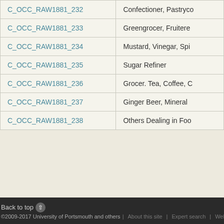| C_OCC_RAW1881_232 | Confectioner, Pastryco… |
| C_OCC_RAW1881_233 | Greengrocer, Fruitere… |
| C_OCC_RAW1881_234 | Mustard, Vinegar, Spi… |
| C_OCC_RAW1881_235 | Sugar Refiner |
| C_OCC_RAW1881_236 | Grocer. Tea, Coffee, C… |
| C_OCC_RAW1881_237 | Ginger Beer, Mineral … |
| C_OCC_RAW1881_238 | Others Dealing in Foo… |
Back to top ©2009-2017 University of Portsmouth and others | About this site | Expert search | Web…